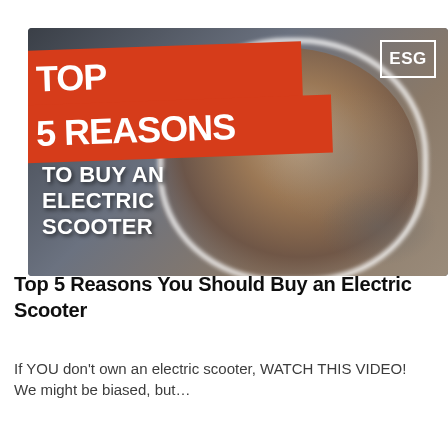[Figure (photo): YouTube video thumbnail showing a smiling man holding electric scooter parts in a scooter shop. Large red banners read 'TOP 5 REASONS' and white text overlay reads 'TO BUY AN ELECTRIC SCOOTER'. ESG logo in top right corner.]
Top 5 Reasons You Should Buy an Electric Scooter
If YOU don't own an electric scooter, WATCH THIS VIDEO! We might be biased, but...